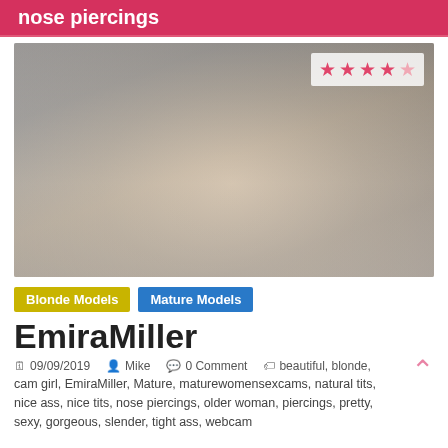nose piercings
[Figure (photo): A blonde woman in a black dress lying on a bed, looking at the camera. A star rating overlay (4 out of 5 stars) is shown in the top right corner of the photo.]
Blonde Models
Mature Models
EmiraMiller
09/09/2019   Mike   0 Comment   beautiful, blonde,
cam girl, EmiraMiller, Mature, maturewomensexcams, natural tits,
nice ass, nice tits, nose piercings, older woman, piercings, pretty,
sexy, gorgeous, slender, tight ass, webcam